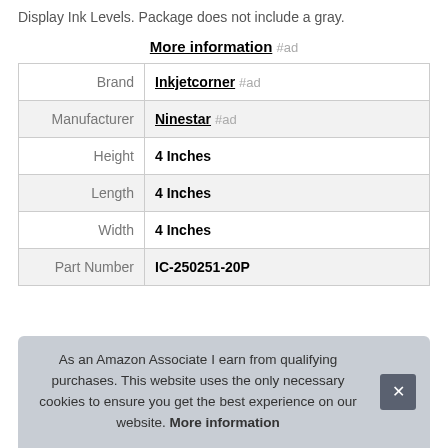Display Ink Levels. Package does not include a gray.
More information #ad
| Brand | Inkjetcorner #ad |
| Manufacturer | Ninestar #ad |
| Height | 4 Inches |
| Length | 4 Inches |
| Width | 4 Inches |
| Part Number | IC-250251-20P |
As an Amazon Associate I earn from qualifying purchases. This website uses the only necessary cookies to ensure you get the best experience on our website. More information